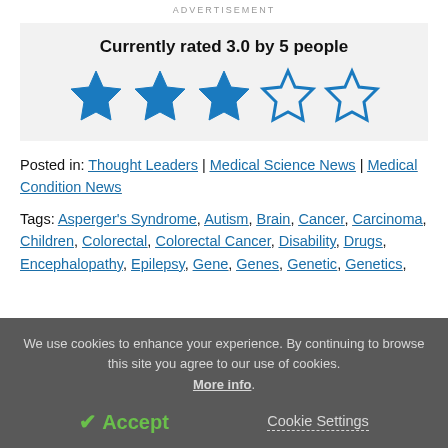ADVERTISEMENT
Currently rated 3.0 by 5 people
[Figure (other): 3 filled blue stars and 2 empty blue star outlines representing a 3 out of 5 star rating]
Posted in: Thought Leaders | Medical Science News | Medical Condition News
Tags: Asperger's Syndrome, Autism, Brain, Cancer, Carcinoma, Children, Colorectal, Colorectal Cancer, Disability, Drugs, Encephalopathy, Epilepsy, Gene, Genes, Genetic, Genetics,
We use cookies to enhance your experience. By continuing to browse this site you agree to our use of cookies. More info.
✔ Accept
Cookie Settings